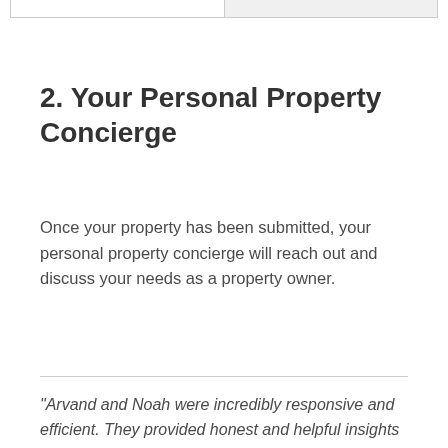2. Your Personal Property Concierge
Once your property has been submitted, your personal property concierge will reach out and discuss your needs as a property owner.
"Arvand and Noah were incredibly responsive and efficient. They provided honest and helpful insights that demonstrate their capabilities...